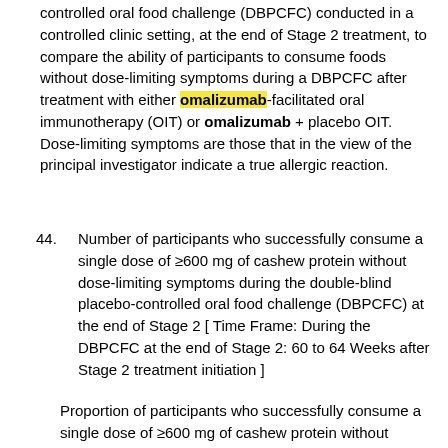controlled oral food challenge (DBPCFC) conducted in a controlled clinic setting, at the end of Stage 2 treatment, to compare the ability of participants to consume foods without dose-limiting symptoms during a DBPCFC after treatment with either omalizumab-facilitated oral immunotherapy (OIT) or omalizumab + placebo OIT. Dose-limiting symptoms are those that in the view of the principal investigator indicate a true allergic reaction.
44. Number of participants who successfully consume a single dose of ≥600 mg of cashew protein without dose-limiting symptoms during the double-blind placebo-controlled oral food challenge (DBPCFC) at the end of Stage 2 [ Time Frame: During the DBPCFC at the end of Stage 2: 60 to 64 Weeks after Stage 2 treatment initiation ]
Proportion of participants who successfully consume a single dose of ≥600 mg of cashew protein without dose-